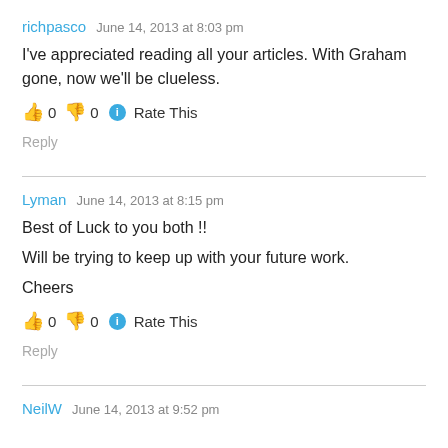richpasco   June 14, 2013 at 8:03 pm
I've appreciated reading all your articles. With Graham gone, now we'll be clueless.
👍 0 👎 0 ℹ Rate This
Reply
Lyman   June 14, 2013 at 8:15 pm
Best of Luck to you both !!

Will be trying to keep up with your future work.

Cheers
👍 0 👎 0 ℹ Rate This
Reply
NeilW   June 14, 2013 at 9:52 pm